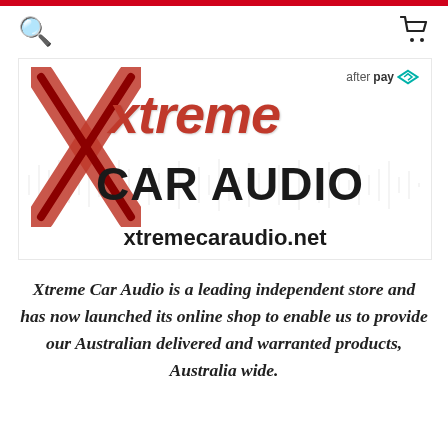[Figure (logo): Xtreme Car Audio logo with red X mark, red italic 'xtreme' text, bold 'CAR AUDIO' text, website xtremecaraudio.net, soundwave background, and Afterpay badge in top right]
Xtreme Car Audio is a leading independent store and has now launched its online shop to enable us to provide our Australian delivered and warranted products, Australia wide.